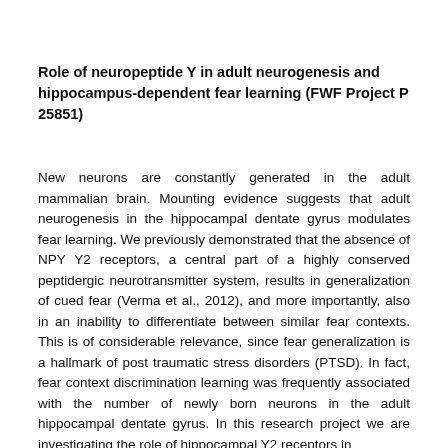Role of neuropeptide Y in adult neurogenesis and hippocampus-dependent fear learning (FWF Project P 25851)
New neurons are constantly generated in the adult mammalian brain. Mounting evidence suggests that adult neurogenesis in the hippocampal dentate gyrus modulates fear learning. We previously demonstrated that the absence of NPY Y2 receptors, a central part of a highly conserved peptidergic neurotransmitter system, results in generalization of cued fear (Verma et al., 2012), and more importantly, also in an inability to differentiate between similar fear contexts. This is of considerable relevance, since fear generalization is a hallmark of post traumatic stress disorders (PTSD). In fact, fear context discrimination learning was frequently associated with the number of newly born neurons in the adult hippocampal dentate gyrus. In this research project we are investigating the role of hippocampal Y2 receptors in